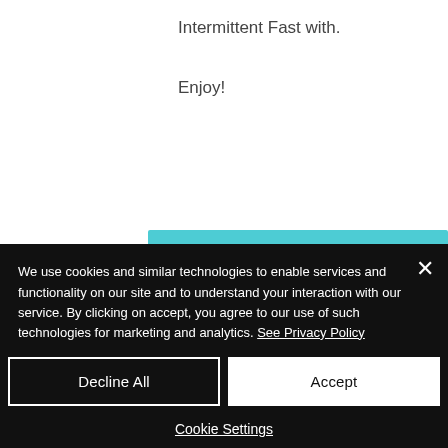Intermittent Fast with.
Enjoy!
[Figure (illustration): Partial view of a book cover with a teal border, white interior, and a teal circle with white bold number '10' in the center. Background shows light blue and pink/red elements.]
We use cookies and similar technologies to enable services and functionality on our site and to understand your interaction with our service. By clicking on accept, you agree to our use of such technologies for marketing and analytics. See Privacy Policy
Decline All
Accept
Cookie Settings